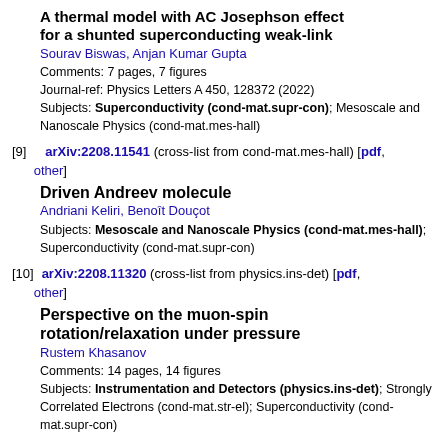A thermal model with AC Josephson effect for a shunted superconducting weak-link
Sourav Biswas, Anjan Kumar Gupta
Comments: 7 pages, 7 figures
Journal-ref: Physics Letters A 450, 128372 (2022)
Subjects: Superconductivity (cond-mat.supr-con); Mesoscale and Nanoscale Physics (cond-mat.mes-hall)
[9] arXiv:2208.11541 (cross-list from cond-mat.mes-hall) [pdf, other]
Driven Andreev molecule
Andriani Keliri, Benoît Douçot
Subjects: Mesoscale and Nanoscale Physics (cond-mat.mes-hall); Superconductivity (cond-mat.supr-con)
[10] arXiv:2208.11320 (cross-list from physics.ins-det) [pdf, other]
Perspective on the muon-spin rotation/relaxation under pressure
Rustem Khasanov
Comments: 14 pages, 14 figures
Subjects: Instrumentation and Detectors (physics.ins-det); Strongly Correlated Electrons (cond-mat.str-el); Superconductivity (cond-mat.supr-con)